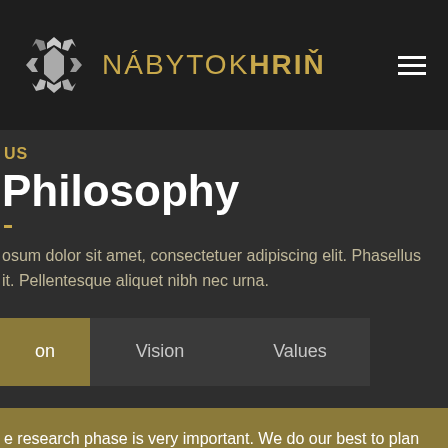NÁBYTOK HRIŇ
US
Philosophy
osum dolor sit amet, consectetuer adipiscing elit. Phasellus it. Pellentesque aliquet nibh nec urna.
on
Vision
Values
e research phase is very important. We do our best to plan every ssible outcome, which would affect the budget and time of shing the project: